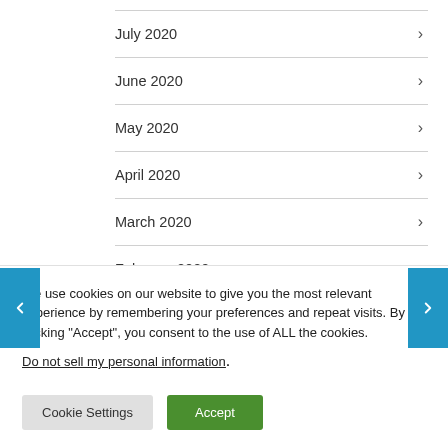July 2020
June 2020
May 2020
April 2020
March 2020
February 2020
November 2019
October 2019
We use cookies on our website to give you the most relevant experience by remembering your preferences and repeat visits. By clicking “Accept”, you consent to the use of ALL the cookies.
Do not sell my personal information.
Cookie Settings | Accept